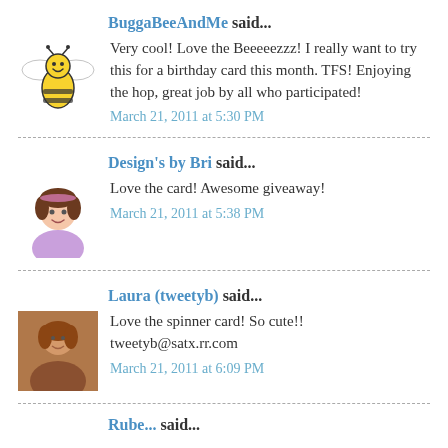BuggaBeeAndMe said...
[Figure (illustration): Cartoon bee avatar with yellow body and black stripes, white wings, smiley face]
Very cool! Love the Beeeeezzz! I really want to try this for a birthday card this month. TFS! Enjoying the hop, great job by all who participated!
March 21, 2011 at 5:30 PM
Design's by Bri said...
[Figure (illustration): Cartoon avatar of a woman with brown hair and pink/purple top]
Love the card! Awesome giveaway!
March 21, 2011 at 5:38 PM
Laura (tweetyb) said...
[Figure (photo): Photo avatar of a woman with reddish hair]
Love the spinner card! So cute!! tweetyb@satx.rr.com
March 21, 2011 at 6:09 PM
Rube... said...